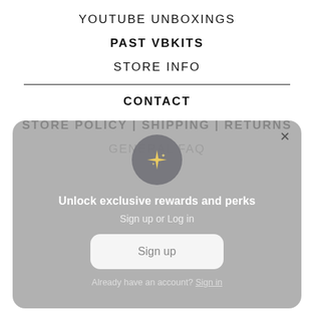YOUTUBE UNBOXINGS
PAST VBKITS
STORE INFO
CONTACT
STORE POLICY | SHIPPING | RETURNS
GENERAL FAQ
[Figure (screenshot): Modal popup with sparkle icon, text 'Unlock exclusive rewards and perks', 'Sign up or Log in', a Sign up button, and 'Already have an account? Sign in' link.]